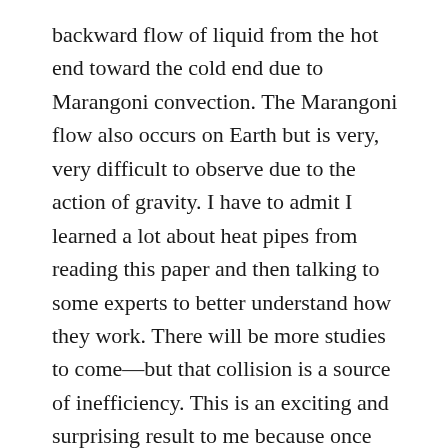backward flow of liquid from the hot end toward the cold end due to Marangoni convection. The Marangoni flow also occurs on Earth but is very, very difficult to observe due to the action of gravity. I have to admit I learned a lot about heat pipes from reading this paper and then talking to some experts to better understand how they work. There will be more studies to come—but that collision is a source of inefficiency. This is an exciting and surprising result to me because once the physics are better understood, it can be applied to make smaller and more efficient heat pipes everywhere, including in this hot laptop I am using right now.